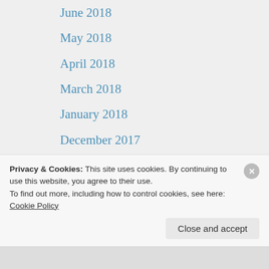June 2018
May 2018
April 2018
March 2018
January 2018
December 2017
November 2017
October 2017
September 2017
May 2017
April 2017
March 2017
February 2017
January 2017
Privacy & Cookies: This site uses cookies. By continuing to use this website, you agree to their use.
To find out more, including how to control cookies, see here: Cookie Policy
Close and accept